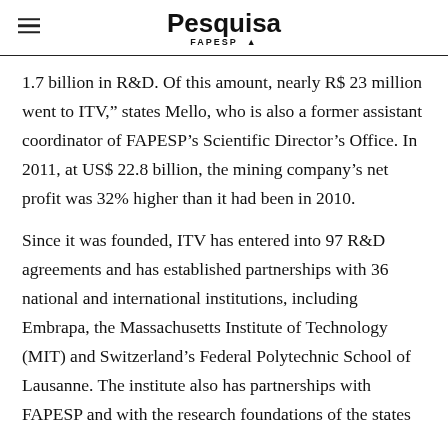Pesquisa FAPESP
1.7 billion in R&D. Of this amount, nearly R$ 23 million went to ITV,” states Mello, who is also a former assistant coordinator of FAPESP’s Scientific Director’s Office. In 2011, at US$ 22.8 billion, the mining company’s net profit was 32% higher than it had been in 2010.
Since it was founded, ITV has entered into 97 R&D agreements and has established partnerships with 36 national and international institutions, including Embrapa, the Massachusetts Institute of Technology (MIT) and Switzerland’s Federal Polytechnic School of Lausanne. The institute also has partnerships with FAPESP and with the research foundations of the states